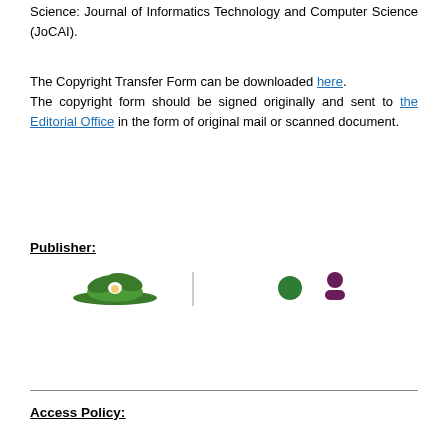Science: Journal of Informatics Technology and Computer Science (JoCAI).
The Copyright Transfer Form can be downloaded here. The copyright form should be signed originally and sent to the Editorial Office in the form of original mail or scanned document.
Publisher:
[Figure (logo): Publisher logos: green leaf/hat logo, vertical bar separator, green circle, purple person icon]
Access Policy: